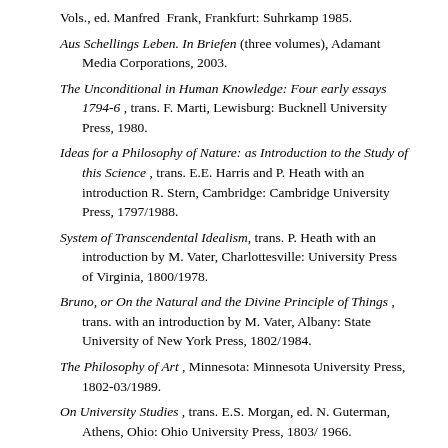Vols., ed. Manfred Frank, Frankfurt: Suhrkamp 1985.
Aus Schellings Leben. In Briefen (three volumes), Adamant Media Corporations, 2003.
The Unconditional in Human Knowledge: Four early essays 1794-6 , trans. F. Marti, Lewisburg: Bucknell University Press, 1980.
Ideas for a Philosophy of Nature: as Introduction to the Study of this Science , trans. E.E. Harris and P. Heath with an introduction R. Stern, Cambridge: Cambridge University Press, 1797/1988.
System of Transcendental Idealism, trans. P. Heath with an introduction by M. Vater, Charlottesville: University Press of Virginia, 1800/1978.
Bruno, or On the Natural and the Divine Principle of Things , trans. with an introduction by M. Vater, Albany: State University of New York Press, 1802/1984.
The Philosophy of Art , Minnesota: Minnesota University Press, 1802-03/1989.
On University Studies , trans. E.S. Morgan, ed. N. Guterman, Athens, Ohio: Ohio University Press, 1803/ 1966.
Philosophical Inquiries into the Nature of Human Freedom, trans. With an introduction by J. Gutmann, Chicago: Open Court, 1809/1936.
Clara, or, On Nature's Connection to the Spirit World, ... Fin...